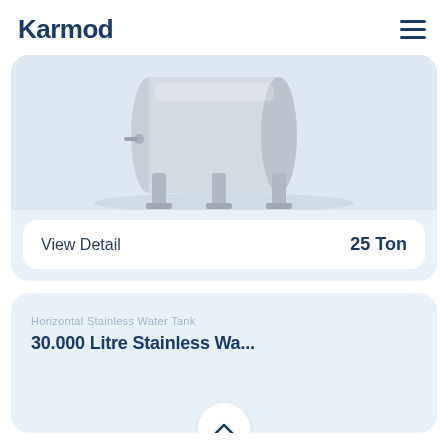Karmod
[Figure (illustration): 3D rendering of a horizontal stainless steel water tank on elevated supports, light gray color, shown partially cropped from above]
View Detail    25 Ton
Horizontal Stainless Water Tank
30.000 Litre Stainless Wa...